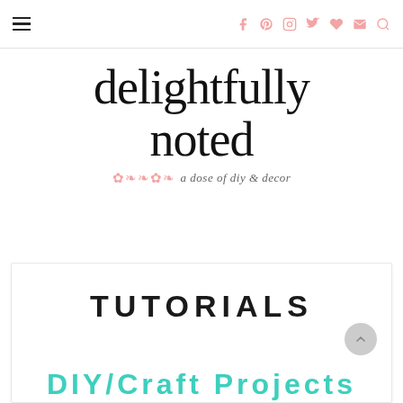Navigation bar with hamburger menu and social icons (Facebook, Pinterest, Instagram, Twitter, heart, email, search)
delightfully noted
a dose of diy & decor
TUTORIALS
DIY/CRAFT PROJECTS